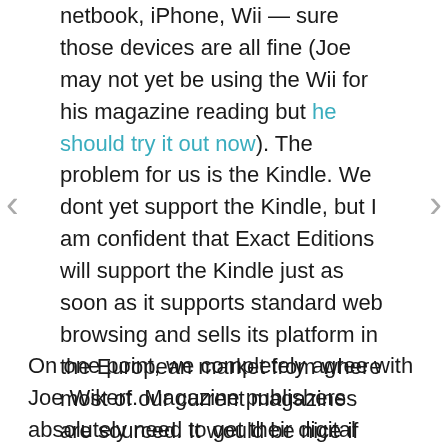netbook, iPhone, Wii — sure those devices are all fine (Joe may not yet be using the Wii for his magazine reading but he should try it out now). The problem for us is the Kindle. We dont yet support the Kindle, but I am confident that Exact Editions will support the Kindle just as soon as it supports standard web browsing and sells its platform in the European market from where most of our current magazines are sourced. It would be nice if the Kindle also had colour. Consumer magazines really need colour.
On one point, we completely agree with Joe Wikert. Magazine publishers absolutely need to get their digital offerings in place fast. At a price and in